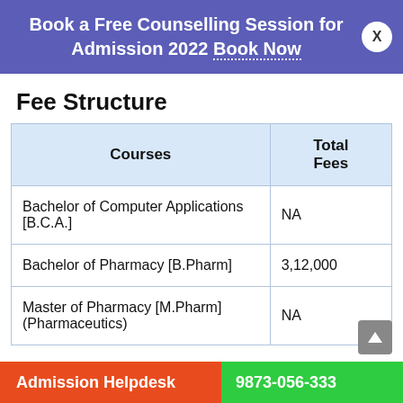Book a Free Counselling Session for Admission 2022 Book Now  X
Fee Structure
| Courses | Total Fees |
| --- | --- |
| Bachelor of Computer Applications [B.C.A.] | NA |
| Bachelor of Pharmacy [B.Pharm] | 3,12,000 |
| Master of Pharmacy [M.Pharm] (Pharmaceutics) | NA |
Admission Helpdesk  9873-056-333